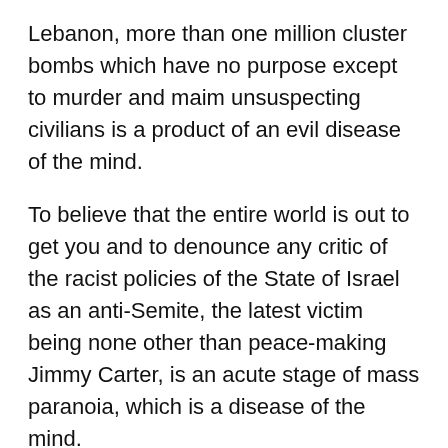Lebanon, more than one million cluster bombs which have no purpose except to murder and maim unsuspecting civilians is a product of an evil disease of the mind.
To believe that the entire world is out to get you and to denounce any critic of the racist policies of the State of Israel as an anti-Semite, the latest victim being none other than peace-making Jimmy Carter, is an acute stage of mass paranoia, which is a disease of the mind.
To possess, in the midst of a non-nuclear Arab world, more than 200 nuclear warheads capable of incinerating the whole planet in addition to having the most advanced arsenal of weaponry in the world while continuing to play the role of a victim is a disease of the mind.
Yes, and for that salesman in peaceful Geneva to be so immune to facts and probably the name of the